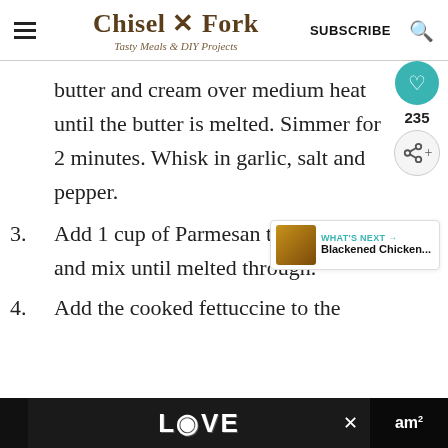Chisel & Fork — Tasty Meals & DIY Projects
butter and cream over medium heat until the butter is melted. Simmer for 2 minutes. Whisk in garlic, salt and pepper.
3. Add 1 cup of Parmesan to the sauce and mix until melted through.
4. Add the cooked fettuccine to the